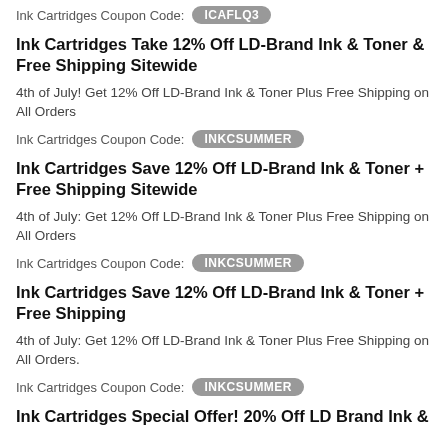Ink Cartridges Coupon Code: ICAFLQ3
Ink Cartridges Take 12% Off LD-Brand Ink & Toner & Free Shipping Sitewide
4th of July! Get 12% Off LD-Brand Ink & Toner Plus Free Shipping on All Orders
Ink Cartridges Coupon Code: INKCSUMMER
Ink Cartridges Save 12% Off LD-Brand Ink & Toner + Free Shipping Sitewide
4th of July: Get 12% Off LD-Brand Ink & Toner Plus Free Shipping on All Orders
Ink Cartridges Coupon Code: INKCSUMMER
Ink Cartridges Save 12% Off LD-Brand Ink & Toner + Free Shipping
4th of July: Get 12% Off LD-Brand Ink & Toner Plus Free Shipping on All Orders.
Ink Cartridges Coupon Code: INKCSUMMER
Ink Cartridges Special Offer! 20% Off LD Brand Ink &